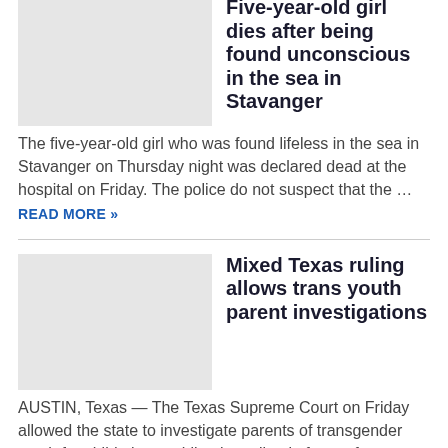[Figure (photo): Placeholder thumbnail image (light gray) for the Stavanger article]
Five-year-old girl dies after being found unconscious in the sea in Stavanger
The five-year-old girl who was found lifeless in the sea in Stavanger on Thursday night was declared dead at the hospital on Friday. The police do not suspect that the … READ MORE »
[Figure (photo): Placeholder thumbnail image (light gray) for the Texas ruling article]
Mixed Texas ruling allows trans youth parent investigations
AUSTIN, Texas — The Texas Supreme Court on Friday allowed the state to investigate parents of transgender youth for child abuse while also ruling in favor of one family that … READ MORE »